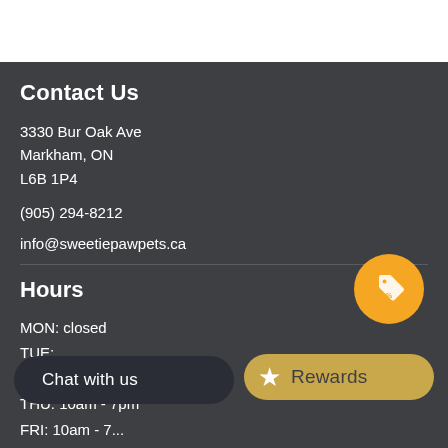Contact Us
3330 Bur Oak Ave
Markham, ON
L6B 1P4
(905) 294-8212
info@sweetiepawpets.ca
Hours
MON: closed
TUE: ...
WED: ...
THU: 10am - 7pm
FRI: 10am - 7...
[Figure (illustration): Orange circle button with price tag/discount icon]
[Figure (illustration): Gold/tan Rewards button with star icon]
[Figure (illustration): Dark Chat with us button overlay]